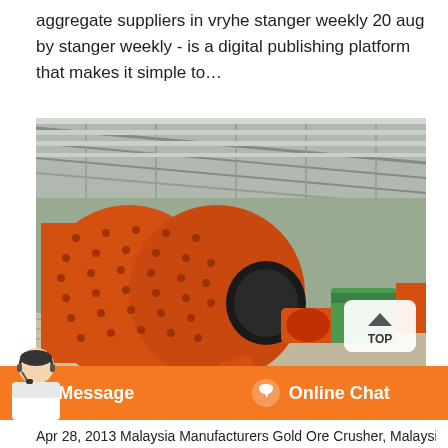aggregate suppliers in vryhe stanger weekly 20 aug by stanger weekly - is a digital publishing platform that makes it simple to…
[Figure (photo): Industrial ball mill (large orange cylindrical grinding machine) inside a warehouse/factory building with metal roof. Green and orange machinery visible in background. A 'TOP' button overlay visible in bottom right of image.]
Message    Online Chat
Apr 28, 2013 Malaysia Manufacturers Gold Ore Crusher, Malaysia